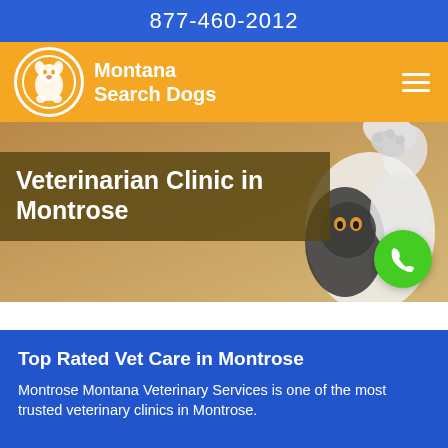877-460-2012
[Figure (logo): Montana Search Dogs logo with dog silhouette in white circle on orange background, brand name Montana Search Dogs in white bold text]
Veterinarian Clinic in Montrose
[Figure (photo): Cat photographed from below reaching up with paw, warm golden/brown background]
Top Rated Vet Care in Montrose
Montrose Montana Veterinary Services is one of the most trusted veterinary clinics in Montrose.